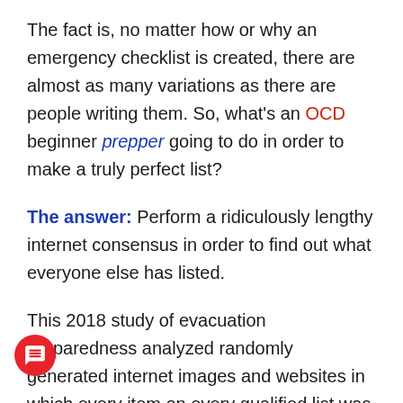The fact is, no matter how or why an emergency checklist is created, there are almost as many variations as there are people writing them. So, what's an OCD beginner prepper going to do in order to make a truly perfect list?
The answer: Perform a ridiculously lengthy internet consensus in order to find out what everyone else has listed.
This 2018 study of evacuation preparedness analyzed randomly generated internet images and websites in which every item on every qualified list was counted. It started with over 500 potential candidates but was dwindled down to 132 in order to meet preset criteria (sorry, but “Bridal shower survival kit,” did not make the grade). The survey gave no priority to any particular author or group and was extremely diverse taking into account amateurs, government agencies,